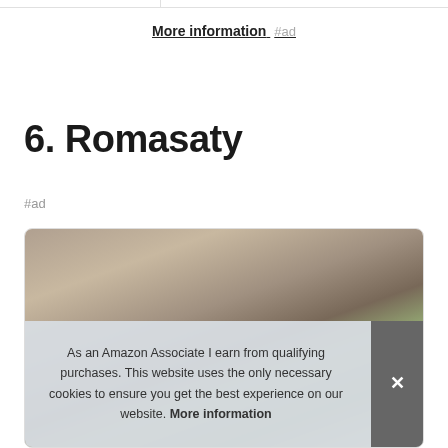More information #ad
6. Romasaty
#ad
[Figure (photo): Product photo partially visible behind cookie consent banner]
As an Amazon Associate I earn from qualifying purchases. This website uses the only necessary cookies to ensure you get the best experience on our website. More information